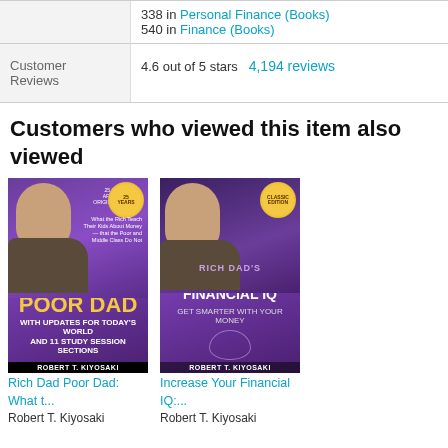|  |  |
| --- | --- |
|  | 538 in Personal Finance (Books)
540 in Finance (Books) |
| Customer Reviews | 4.6 out of 5 stars  4,194 reviews |
Customers who viewed this item also viewed
[Figure (photo): Book cover of Rich Dad Poor Dad by Robert T. Kiyosaki - purple background with yellow title text]
Rich Dad Poor Dad: What t...
Robert T. Kiyosaki
[Figure (photo): Book cover of Increase Your Financial IQ by Robert T. Kiyosaki - purple background with white title text]
Increase Your Financial IQ:...
Robert T. Kiyosaki